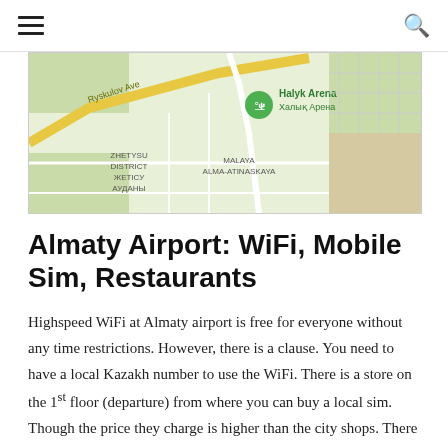[hamburger menu icon] [search icon]
[Figure (map): Google Maps screenshot showing Halyk Arena (Халык Арена) in Almaty, with Ryskulov Ave, Zhetysu District (Жетісу ауданы), and Malaya Alma-Atinaskaya district labeled.]
Almaty Airport: WiFi, Mobile Sim, Restaurants
Highspeed WiFi at Almaty airport is free for everyone without any time restrictions. However, there is a clause. You need to have a local Kazakh number to use the WiFi. There is a store on the 1st floor (departure) from where you can buy a local sim. Though the price they charge is higher than the city shops. There is also a restaurant inside the airport building. After you enter the airport building, you can find it on the extreme right corner.